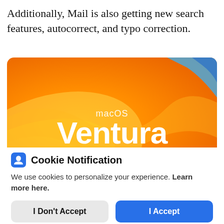Additionally, Mail is also getting new search features, autocorrect, and typo correction.
[Figure (illustration): macOS Ventura promotional image with orange/yellow gradient wave background and blue accent in the corner. White text reads 'macOS' above 'Ventura' in large bold letters.]
Cookie Notification
We use cookies to personalize your experience. Learn more here.
I Don't Accept
I Accept